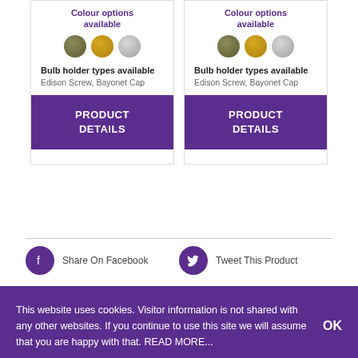Colour options available
[Figure (illustration): Three colour swatches: olive/dark gold, bright gold, silver]
Bulb holder types available
Edison Screw, Bayonet Cap
PRODUCT DETAILS
Colour options available
[Figure (illustration): Three colour swatches: olive/dark gold, bright gold, silver]
Bulb holder types available
Edison Screw, Bayonet Cap
PRODUCT DETAILS
Share On Facebook
Tweet This Product
This website uses cookies. Visitor information is not shared with any other websites. If you continue to use this site we will assume that you are happy with that. READ MORE...
OK